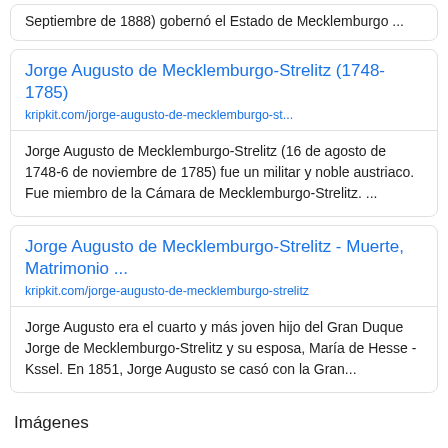Septiembre de 1888) gobernó el Estado de Mecklemburgo ...
Jorge Augusto de Mecklemburgo-Strelitz (1748-1785)
kripkit.com/jorge-augusto-de-mecklemburgo-st...
Jorge Augusto de Mecklemburgo-Strelitz (16 de agosto de 1748-6 de noviembre de 1785) fue un militar y noble austriaco. Fue miembro de la Cámara de Mecklemburgo-Strelitz. ...
Jorge Augusto de Mecklemburgo-Strelitz - Muerte, Matrimonio ...
kripkit.com/jorge-augusto-de-mecklemburgo-strelitz
Jorge Augusto era el cuarto y más joven hijo del Gran Duque Jorge de Mecklemburgo-Strelitz y su esposa, María de Hesse - Kssel. En 1851, Jorge Augusto se casó con la Gran...
Imágenes